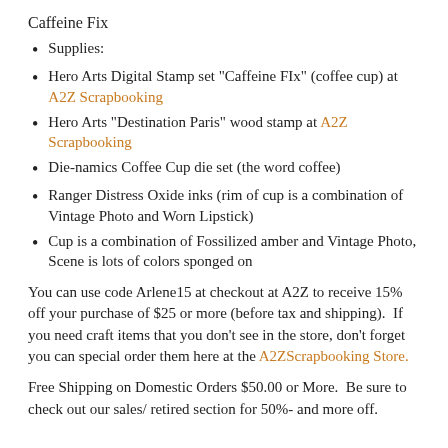Caffeine Fix
Supplies:
Hero Arts Digital Stamp set "Caffeine FIx" (coffee cup) at A2Z Scrapbooking
Hero Arts "Destination Paris" wood stamp at A2Z Scrapbooking
Die-namics Coffee Cup die set (the word coffee)
Ranger Distress Oxide inks (rim of cup is a combination of Vintage Photo and Worn Lipstick)
Cup is a combination of Fossilized amber and Vintage Photo, Scene is lots of colors sponged on
You can use code Arlene15 at checkout at A2Z to receive 15% off your purchase of $25 or more (before tax and shipping).  If you need craft items that you don't see in the store, don't forget you can special order them here at the A2ZScrapbooking Store.
Free Shipping on Domestic Orders $50.00 or More.  Be sure to check out our sales/ retired section for 50%- and more off.